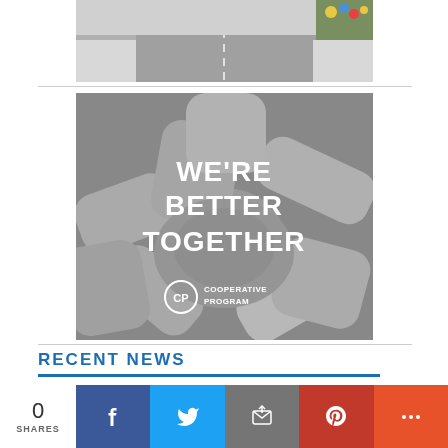[Figure (photo): Partial top image showing a road/path with flowers, cropped at top]
[Figure (photo): Black and white photo of many hands joined together in a circle, with white text overlay reading 'WE'RE BETTER TOGETHER' and the Cooperative Program logo]
RECENT NEWS
0 SHARES
[Figure (infographic): Social sharing bar with Facebook, Twitter, Email, Pinterest, and More buttons]